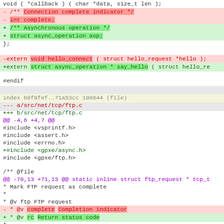Code diff showing changes to hello_request struct and ftp.c file
[Figure (screenshot): Git diff output showing removed and added lines in C source code, with syntax highlighting for diff markers]